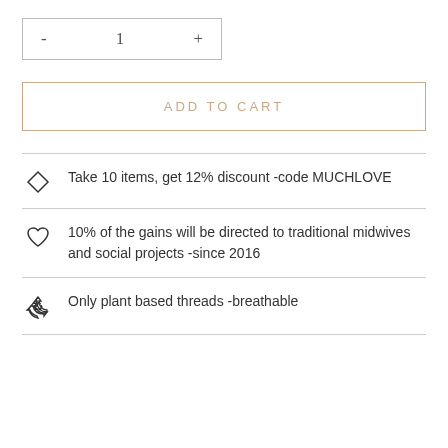[Figure (other): Quantity selector box with minus, 1, and plus controls]
ADD TO CART
Take 10 items, get 12% discount -code MUCHLOVE
10% of the gains will be directed to traditional midwives and social projects -since 2016
Only plant based threads -breathable